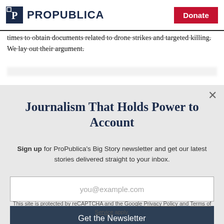ProPublica | Donate
times to obtain documents related to drone strikes and targeted killing. We lay out their argument.
Journalism That Holds Power to Account
Sign up for ProPublica's Big Story newsletter and get our latest stories delivered straight to your inbox.
you@example.com
Get the Newsletter
No thanks, I'm all set
This site is protected by reCAPTCHA and the Google Privacy Policy and Terms of Service apply.